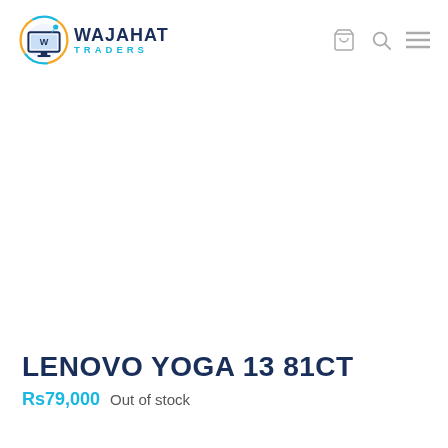[Figure (logo): Wajahat Traders logo with monitor icon and circular design in blue and gold colors, with bold dark blue text 'WAJAHAT TRADERS' and light blue subtitle 'TRADERS']
[Figure (photo): Product image area (appears blank/white - product photo not visible)]
LENOVO YOGA 13 81CT
Rs79,000  Out of stock